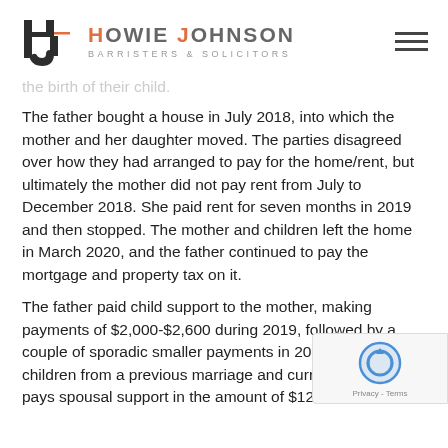Howie Johnson Barristers & Solicitors
the birth of their child.
The father bought a house in July 2018, into which the mother and her daughter moved. The parties disagreed over how they had arranged to pay for the home/rent, but ultimately the mother did not pay rent from July to December 2018. She paid rent for seven months in 2019 and then stopped. The mother and children left the home in March 2020, and the father continued to pay the mortgage and property tax on it.
The father paid child support to the mother, making payments of $2,000-$2,600 during 2019, followed by a couple of sporadic smaller payments in 2020. He has two children from a previous marriage and currently pays spousal support in the amount of $12,085 and